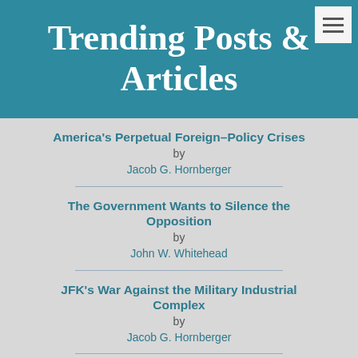Trending Posts & Articles
America's Perpetual Foreign-Policy Crises by Jacob G. Hornberger
The Government Wants to Silence the Opposition by John W. Whitehead
JFK's War Against the Military Industrial Complex by Jacob G. Hornberger